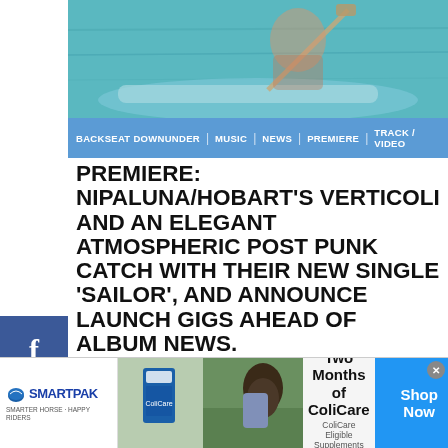[Figure (photo): Partial view of a person in a blue canoe/boat on teal water, holding a paddle]
BACKSEAT DOWNUNDER | MUSIC | NEWS | PREMIERE | TRACK / VIDEO
PREMIERE: NIPALUNA/HOBART'S VERTICOLI AND AN ELEGANT ATMOSPHERIC POST PUNK CATCH WITH THEIR NEW SINGLE 'SAILOR', AND ANNOUNCE LAUNCH GIGS AHEAD OF ALBUM NEWS.
ARUN KENDALL  AUGUST 29, 2022
We are honoured to premiere the new single 'Sailor' from Nipaluna/Hobart trio Verticoli: an atmospheric enigmatic
[Figure (other): SmartPak advertisement: 50% Off Two Months of ColiCare, ColiCare Eligible Supplements, CODE: COLICARE10, Shop Now button]